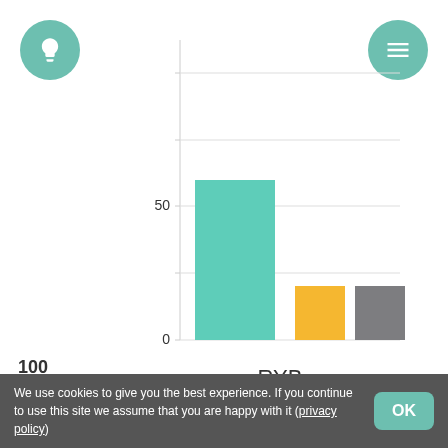[Figure (bar-chart): RYB]
RYB
100
We use cookies to give you the best experience. If you continue to use this site we assume that you are happy with it (privacy policy)